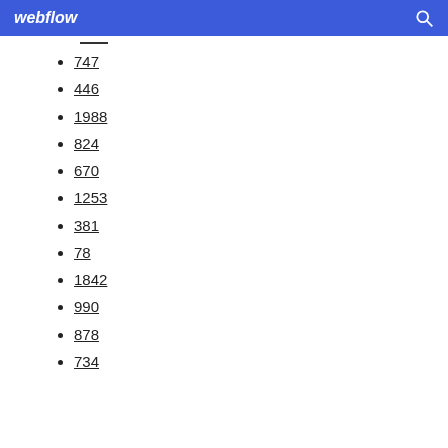webflow
747
446
1988
824
670
1253
381
78
1842
990
878
734